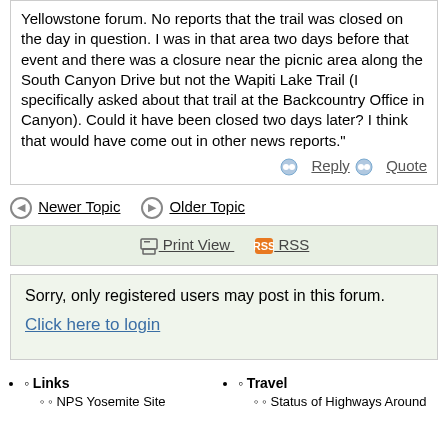Yellowstone forum. No reports that the trail was closed on the day in question. I was in that area two days before that event and there was a closure near the picnic area along the South Canyon Drive but not the Wapiti Lake Trail (I specifically asked about that trail at the Backcountry Office in Canyon). Could it have been closed two days later? I think that would have come out in other news reports."
Reply  Quote
Newer Topic   Older Topic
Print View  RSS
Sorry, only registered users may post in this forum.

Click here to login
Links
NPS Yosemite Site
Travel
Status of Highways Around